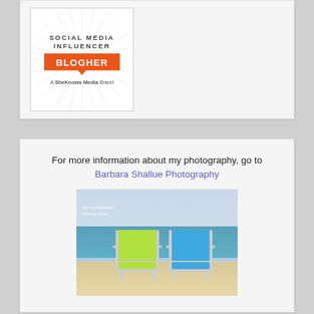[Figure (logo): BlogHer Social Media Influencer badge — orange speech bubble with BLOGHER text, rays background, A SheKnows Media Brand tagline]
For more information about my photography, go to Barbara Shallue Photography
[Figure (photo): Two beach chairs on a sandy beach — one lime green and one blue — with ocean waves and overcast sky in background. BarbersShallue Photography watermark visible.]